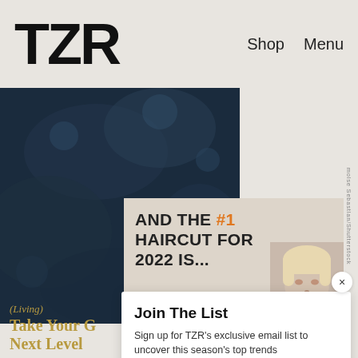TZR | Shop  Menu
[Figure (photo): Dark blue abstract background photo used as article thumbnail]
AND THE #1 HAIRCUT FOR 2022 IS...
[Figure (photo): Close-up of a blonde woman's face, partially visible on the right side of the article card]
Join The List
Sign up for TZR's exclusive email list to uncover this season's top trends
Email address  Subscribe
(Living)
Take Your G Next Level